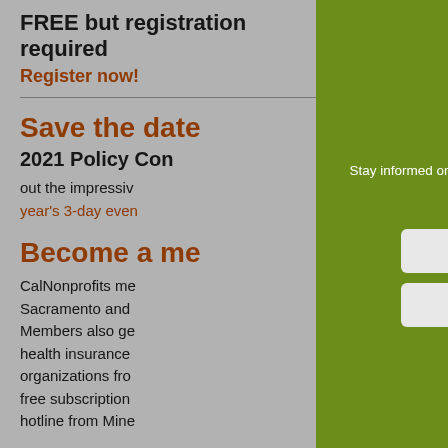FREE but registration required
Register now!
Save the date
2021 Policy Con
out the impressiv
year's 3-day even
Become a me
CalNonprofits me Sacramento and  Members also ge health insurance  organizations fro free subscription  hotline from Mine
[Figure (illustration): Email newsletter envelope icon with a document/letter inside, shown on green background]
Stay informed on nonprofits news in California. We'll send you information about events and webinars, tips & tools, and legislation impacting the nonprofit community.
First Name
Last Name